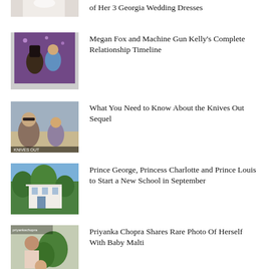of Her 3 Georgia Wedding Dresses
[Figure (photo): Partial photo of wedding dress at top]
Megan Fox and Machine Gun Kelly's Complete Relationship Timeline
[Figure (photo): Photo of Megan Fox and Machine Gun Kelly at an event]
What You Need to Know About the Knives Out Sequel
[Figure (photo): Photo related to Knives Out movie]
Prince George, Princess Charlotte and Prince Louis to Start a New School in September
[Figure (photo): Photo of a building/school exterior]
Priyanka Chopra Shares Rare Photo Of Herself With Baby Malti
[Figure (photo): Photo of Priyanka Chopra with baby]